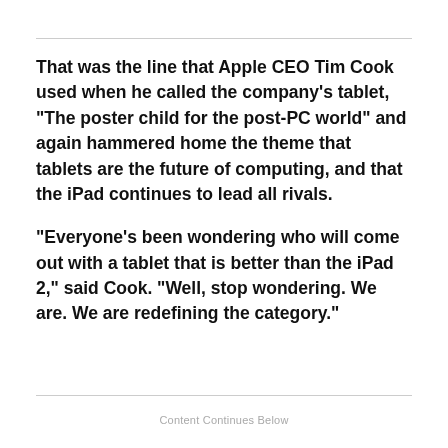That was the line that Apple CEO Tim Cook used when he called the company's tablet, "The poster child for the post-PC world" and again hammered home the theme that tablets are the future of computing, and that the iPad continues to lead all rivals.
"Everyone's been wondering who will come out with a tablet that is better than the iPad 2," said Cook. "Well, stop wondering. We are. We are redefining the category."
Content Continues Below